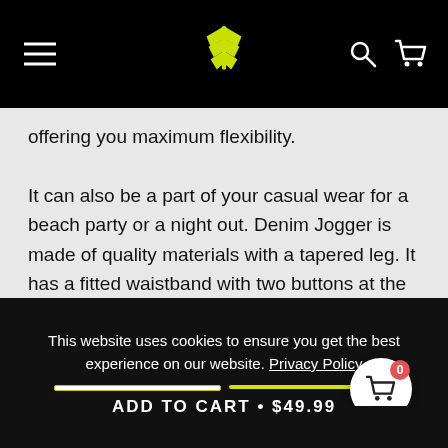Navigation header with logo, hamburger menu, search and cart icons
offering you maximum flexibility.

It can also be a part of your casual wear for a beach party or a night out. Denim Jogger is made of quality materials with a tapered leg. It has a fitted waistband with two buttons at the front and belt holes. It has pockets where you can keep your things. This jogger is made of a combination of polyester and cotton. It is a slim fit but not too tight.
This website uses cookies to ensure you get the best experience on our website. Privacy Policy
ADD TO CART • $49.99